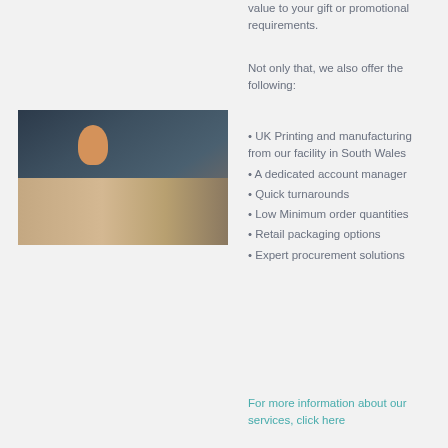value to your gift or promotional requirements.
Not only that, we also offer the following:
[Figure (photo): People sitting in a circle on the floor looking at documents/maps spread out, collaborative meeting scene]
UK Printing and manufacturing from our facility in South Wales
A dedicated account manager
Quick turnarounds
Low Minimum order quantities
Retail packaging options
Expert procurement solutions
For more information about our services, click here